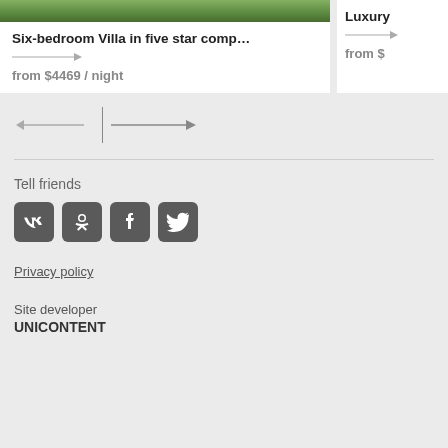[Figure (photo): Green garden/nature photo at top of villa listing card]
Six-bedroom Villa in five star comp…
from $4469 / night
Luxury
from $
[Figure (infographic): Navigation arrows: left arrow | right arrow]
Tell friends
[Figure (infographic): Social media icons: VK, Odnoklassniki, Facebook, Twitter]
Privacy policy
Site developer
UNICONTENT